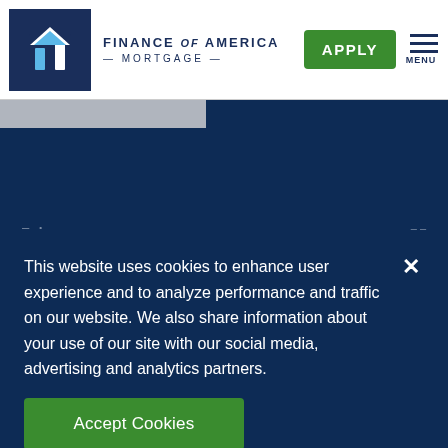[Figure (logo): Finance of America Mortgage logo — dark blue square with stylized house/arrow icon, text 'FINANCE of AMERICA — MORTGAGE —']
APPLY
MENU
This website uses cookies to enhance user experience and to analyze performance and traffic on our website. We also share information about your use of our site with our social media, advertising and analytics partners.
Accept Cookies